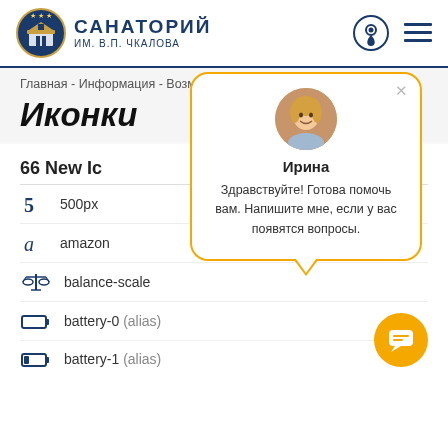САНАТОРИЙ ИМ. В.П. ЧКАЛОВА
Главная - Информация - Возможности - Иконки
Иконки
[Figure (other): Chat popup with avatar of Irina, name 'Ирина', and message 'Здравствуйте! Готова помочь вам. Напишите мне, если у вас появятся вопросы.' with orange border and speech bubble arrow]
66 New Ic
500px
amazon
balance-scale
battery-0 (alias)
battery-1 (alias)